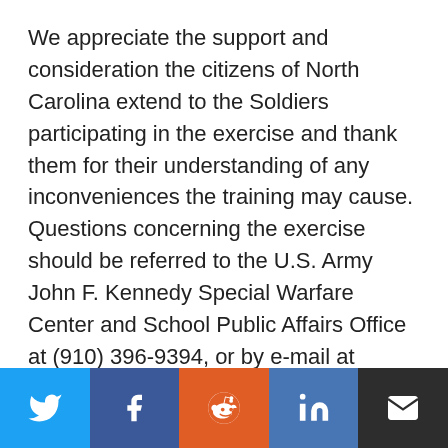We appreciate the support and consideration the citizens of North Carolina extend to the Soldiers participating in the exercise and thank them for their understanding of any inconveniences the training may cause. Questions concerning the exercise should be referred to the U.S. Army John F. Kennedy Special Warfare Center and School Public Affairs Office at (910) 396-9394, or by e-mail at pao_swcs@soc.mil. The Robin Sage operations center, run by D Company, 1st Battalion, 1st Special Warfare Training Group (Airborne), can be reached at (910) 432-6455.
[Figure (infographic): Social media sharing bar with icons for Twitter, Facebook, Reddit, LinkedIn, and Email]